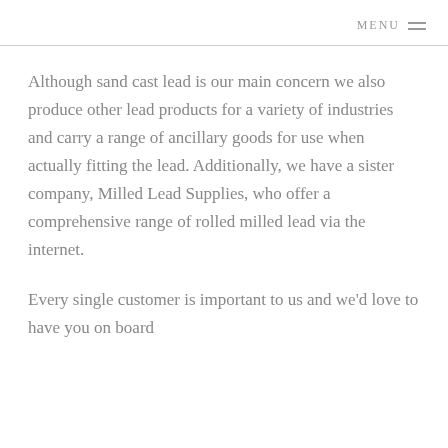MENU
Although sand cast lead is our main concern we also produce other lead products for a variety of industries and carry a range of ancillary goods for use when actually fitting the lead. Additionally, we have a sister company, Milled Lead Supplies, who offer a comprehensive range of rolled milled lead via the internet.
Every single customer is important to us and we'd love to have you on board